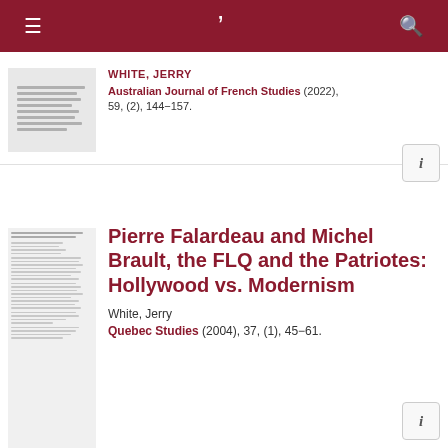Navigation bar with menu, logo, and search icons
WHITE, JERRY
Australian Journal of French Studies (2022), 59, (2), 144−157.
Pierre Falardeau and Michel Brault, the FLQ and the Patriotes: Hollywood vs. Modernism
White, Jerry
Quebec Studies (2004), 37, (1), 45−61.